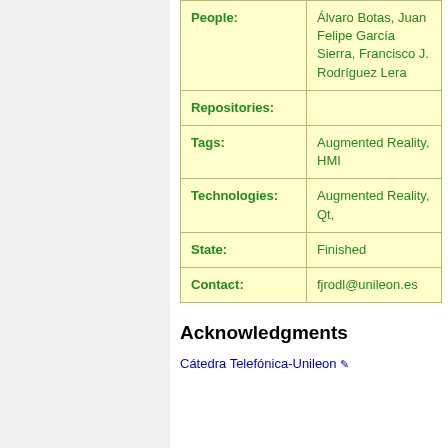| Field | Value |
| --- | --- |
| People: | Álvaro Botas, Juan Felipe García Sierra, Francisco J. Rodríguez Lera |
| Repositories: |  |
| Tags: | Augmented Reality, HMI |
| Technologies: | Augmented Reality, Qt, |
| State: | Finished |
| Contact: | fjrodl@unileon.es |
Acknowledgments
Cátedra Telefónica-Unileon